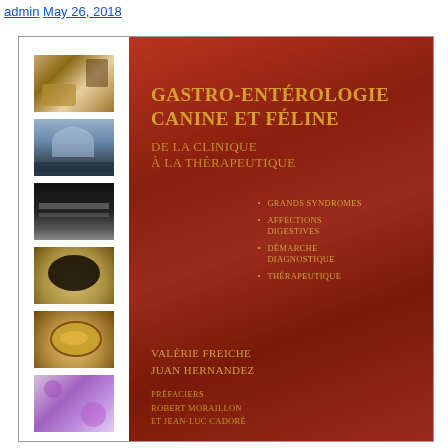admin May 26, 2018
[Figure (photo): Book cover of 'Gastro-entérologie canine et féline' by Valérie Freiche and Juan Hernandez, with six medical/veterinary thumbnail images on the left strip and a red cover on the right showing the title, subtitle, bullet points, authors, and preface writers.]
Gastro-entérologie canine et féline
De la clinique à la thérapeutique
Grands syndromes
Affections digestives
Démarche diagnostique
Thérapeutique
Valérie Freiche
Juan Hernandez
Préfaciers
Robert Moraillon
et Jean-Luc Cadoré